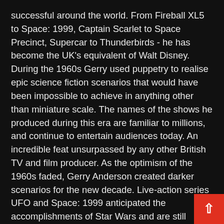successful around the world. From Fireball XL5 to Space: 1999, Captain Scarlet to Space Precinct, Supercar to Thunderbirds - he has become the UK's equivalent of Walt Disney. During the 1960s Gerry used puppetry to realise epic science fiction scenarios that would have been impossible to achieve in anything other than miniature scale. The names of the shows he produced during this era are familiar to millions, and continue to entertain audiences today. An incredible feat unsurpassed by any other British TV and film producer. As the optimism of the 1960s faded, Gerry Anderson created darker scenarios for the new decade. Live-action series UFO and Space: 1999 anticipated the accomplishments of Star Wars and are still regarded by many as his finest work. He was never content to stand still, and his programmes became increasingly diverse in the 1980s. He made a welcome return to puppetry for Terrahawks and brought the animated private detective Dick Spanner to the screen, while developing a parallel career as an award-winning director of sophisticated television commercials. In the 1990s he created and produced the lavish live-action series Space Precinct, before returning to children's entertainment with the enchanting Lavender Castle. In 2001 he was awarded an MBE for services to the British film industry. The astonishing New Captain Scarlet premièred in 2005, by which time